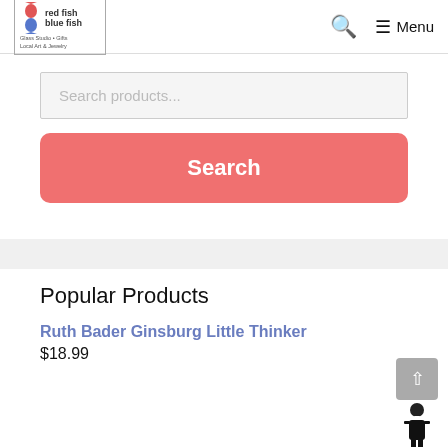[Figure (logo): Red Fish Blue Fish logo with two fish icons and text: red fish / blue fish / Glass Studio • Gifts / Local Art & Jewelry]
Search products...
Search
Popular Products
Ruth Bader Ginsburg Little Thinker
$18.99